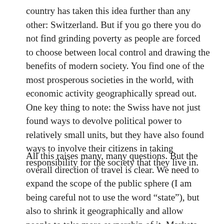country has taken this idea further than any other: Switzerland. But if you go there you do not find grinding poverty as people are forced to choose between local control and drawing the benefits of modern society. You find one of the most prosperous societies in the world, with economic activity geographically spread out. One key thing to note: the Swiss have not just found ways to devolve political power to relatively small units, but they have also found ways to involve their citizens in taking responsibility for the society that they live in.
All this raises many, many questions. But the overall direction of travel is clear. We need to expand the scope of the public sphere (I am being careful not to use the word “state”), but also to shrink it geographically and allow people to take more ownership of it. Markets are useful, but we need democracy too.